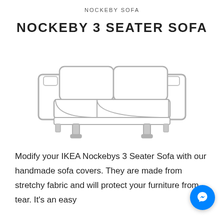NOCKEBY SOFA
NOCKEBY 3 SEATER SOFA
[Figure (illustration): Line drawing illustration of NOCKEBY 3 seater sofa, front-side perspective view, with armrests, seat cushions, back cushions, and four legs, drawn in light gray outlines on white background.]
Modify your IKEA Nockebys 3 Seater Sofa with our handmade sofa covers. They are made from stretchy fabric and will protect your furniture from tear. It's an easy